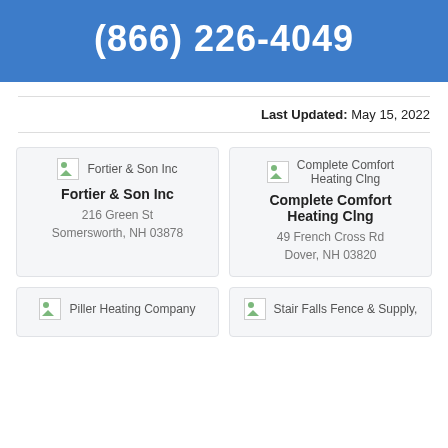(866) 226-4049
Last Updated: May 15, 2022
Fortier & Son Inc
Fortier & Son Inc
216 Green St
Somersworth, NH 03878
Complete Comfort Heating Clng
Complete Comfort Heating Clng
49 French Cross Rd
Dover, NH 03820
Piller Heating Company
Stair Falls Fence & Supply,